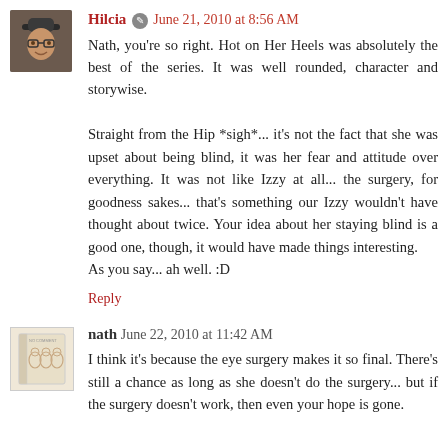Hilcia — June 21, 2010 at 8:56 AM
Nath, you're so right. Hot on Her Heels was absolutely the best of the series. It was well rounded, character and storywise.

Straight from the Hip *sigh*... it's not the fact that she was upset about being blind, it was her fear and attitude over everything. It was not like Izzy at all... the surgery, for goodness sakes... that's something our Izzy wouldn't have thought about twice. Your idea about her staying blind is a good one, though, it would have made things interesting. As you say... ah well. :D
Reply
nath June 22, 2010 at 11:42 AM
I think it's because the eye surgery makes it so final. There's still a chance as long as she doesn't do the surgery... but if the surgery doesn't work, then even your hope is gone.